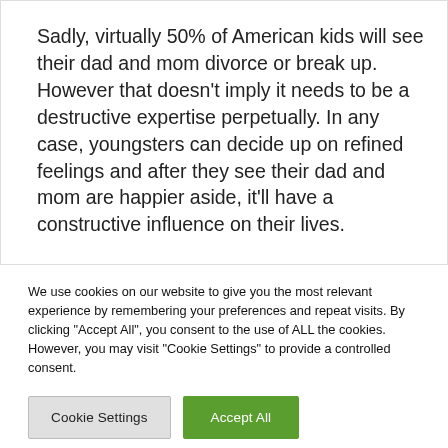Sadly, virtually 50% of American kids will see their dad and mom divorce or break up. However that doesn't imply it needs to be a destructive expertise perpetually. In any case, youngsters can decide up on refined feelings and after they see their dad and mom are happier aside, it'll have a constructive influence on their lives.
We use cookies on our website to give you the most relevant experience by remembering your preferences and repeat visits. By clicking "Accept All", you consent to the use of ALL the cookies. However, you may visit "Cookie Settings" to provide a controlled consent.